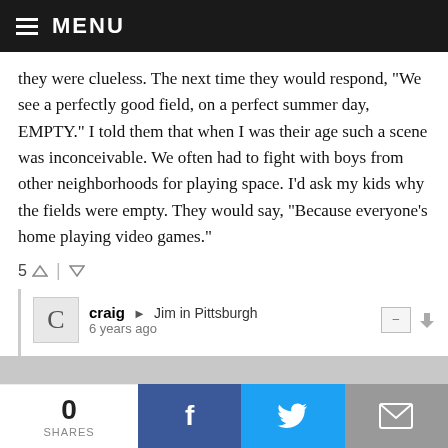MENU
they were clueless. The next time they would respond, "We see a perfectly good field, on a perfect summer day, EMPTY." I told them that when I was their age such a scene was inconceivable. We often had to fight with boys from other neighborhoods for playing space. I'd ask my kids why the fields were empty. They would say, "Because everyone's home playing video games."
5
craig → Jim in Pittsburgh
6 years ago
The fields are probably empty because they are fenced off whenever not reserved for use by an incorporated team with the proper paperwork, liability insurance, and required adult supervision complete with background checks and medical forms for all participants. Lawyers and regulators have worked
0 SHARES